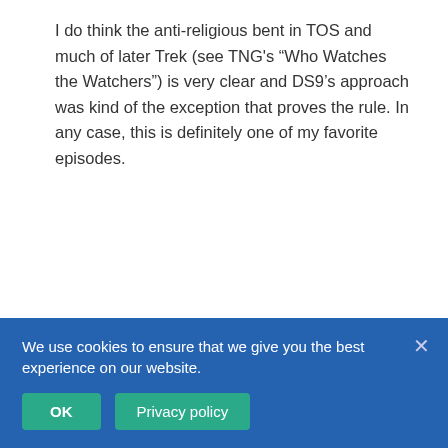I do think the anti-religious bent in TOS and much of later Trek (see TNG's “Who Watches the Watchers”) is very clear and DS9’s approach was kind of the exception that proves the rule. In any case, this is definitely one of my favorite episodes.
Ron ○ June 8, 2007 12:23 pm
After the Altman “Patterns of Force” catastrophe a couple weeks ago, I admit I was concerned about this review and whether the reviewer would address Trek’s most direct examination of Christianity without diatribes, insults, or political commentary. I am happy to say that Kevin Ganster’s funny, thoughtful, and even-handed review completely assuaged my fears. Bravo. One wonders how much of this episode Roddenberry actually had anything… the contrast between B&C’s generally positive portrayal of
We use cookies to ensure that we give you the best experience on our website.